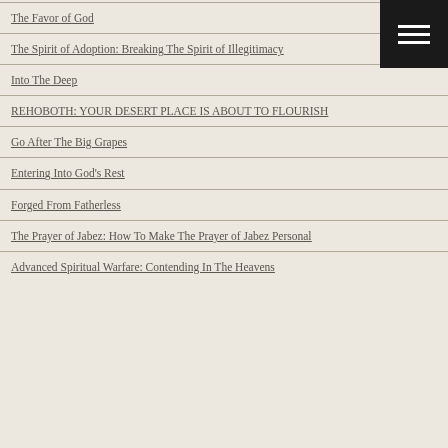The Favor of God
The Spirit of Adoption: Breaking The Spirit of Illegitimacy
Into The Deep
REHOBOTH: YOUR DESERT PLACE IS ABOUT TO FLOURISH
Go After The Big Grapes
Entering Into God's Rest
Forged From Fatherless
The Prayer of Jabez: How To Make The Prayer of Jabez Personal
Advanced Spiritual Warfare: Contending In The Heavens